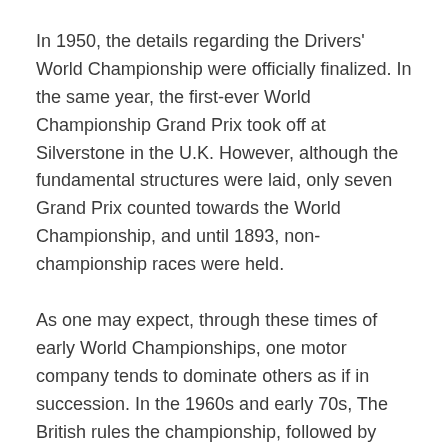In 1950, the details regarding the Drivers' World Championship were officially finalized. In the same year, the first-ever World Championship Grand Prix took off at Silverstone in the U.K. However, although the fundamental structures were laid, only seven Grand Prix counted towards the World Championship, and until 1893, non-championship races were held.
As one may expect, through these times of early World Championships, one motor company tends to dominate others as if in succession. In the 1960s and early 70s, The British rules the championship, followed by Ferrari in the mid-1970s and the late 1990s and early 2000s. In recent years, Williams and Mercedes were the dominating manufacturers.